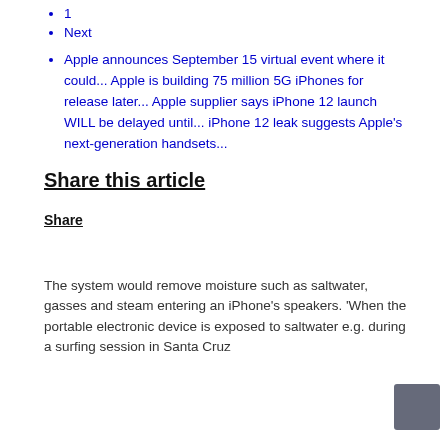1
Next
Apple announces September 15 virtual event where it could... Apple is building 75 million 5G iPhones for release later... Apple supplier says iPhone 12 launch WILL be delayed until... iPhone 12 leak suggests Apple's next-generation handsets...
Share this article
Share
The system would remove moisture such as saltwater, gasses and steam entering an iPhone's speakers. 'When the portable electronic device is exposed to saltwater e.g. during a surfing session in Santa Cruz